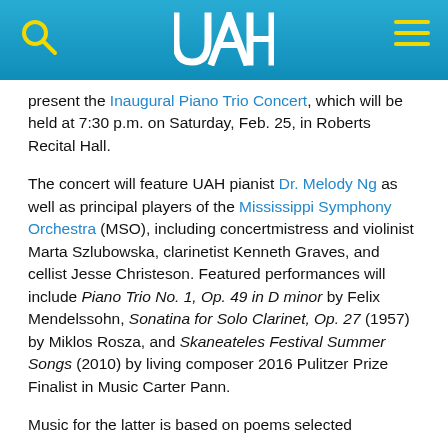UAH header with logo, search icon, and menu icon
present the Inaugural Piano Trio Concert, which will be held at 7:30 p.m. on Saturday, Feb. 25, in Roberts Recital Hall.
The concert will feature UAH pianist Dr. Melody Ng as well as principal players of the Mississippi Symphony Orchestra (MSO), including concertmistress and violinist Marta Szlubowska, clarinetist Kenneth Graves, and cellist Jesse Christeson. Featured performances will include Piano Trio No. 1, Op. 49 in D minor by Felix Mendelssohn, Sonatina for Solo Clarinet, Op. 27 (1957) by Miklos Rosza, and Skaneateles Festival Summer Songs (2010) by living composer 2016 Pulitzer Prize Finalist in Music Carter Pann.
Music for the latter is based on poems selected